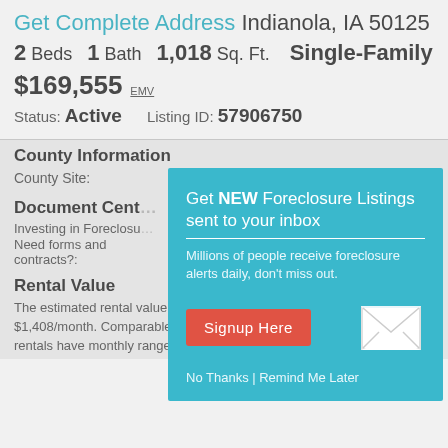Get Complete Address Indianola, IA 50125
2 Beds  1 Bath  1,018 Sq. Ft.  Single-Family
$169,555 EMV
Status: Active   Listing ID: 57906750
County Information
County Site:
Document Center
Investing in Foreclosu...
Need forms and contracts?:
Rental Value
The estimated rental value for W Lincoln Ave located in Indianola, IA is $1,408/month. Comparable homes around W Lincoln Ave that are rentals have monthly ranges starting as low as $1,160
[Figure (screenshot): Modal popup overlay with teal background. Title: 'Get NEW Foreclosure Listings sent to your inbox'. Subtitle: 'Millions of people receive foreclosure alerts daily, don’t miss out.' Red button labeled 'Signup Here'. Mail envelope icon. Links: 'No Thanks | Remind Me Later'.]